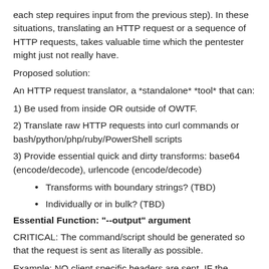each step requires input from the previous step). In these situations, translating an HTTP request or a sequence of HTTP requests, takes valuable time which the pentester might just not really have.
Proposed solution:
An HTTP request translator, a *standalone* *tool* that can:
1) Be used from inside OR outside of OWTF.
2) Translate raw HTTP requests into curl commands or bash/python/php/ruby/PowerShell scripts
3) Provide essential quick and dirty transforms: base64 (encode/decode), urlencode (encode/decode)
Transforms with boundary strings? (TBD)
Individually or in bulk? (TBD)
Essential Function: "--output" argument
CRITICAL: The command/script should be generated so that the request is sent as literally as possible.
Example: NO client specific headers are sent. IF the original